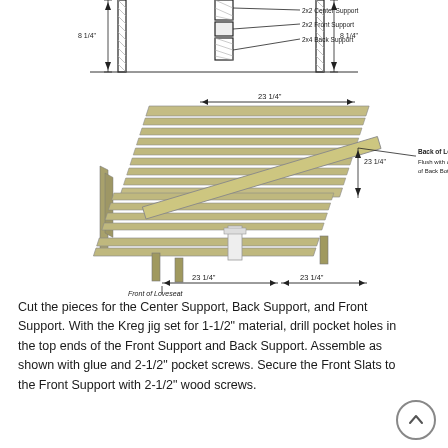[Figure (engineering-diagram): Top cross-section diagram showing 2x2 Center Support, 2x2 Front Support, 2x4 Back Support with 8 1/4" dimension annotations on both sides]
[Figure (engineering-diagram): 3D isometric view of loveseat frame showing Front of Loveseat and Back of Loveseat with multiple 23 1/4" dimension callouts and annotation: Flush with outside edge of Back Bottom]
Cut the pieces for the Center Support, Back Support, and Front Support. With the Kreg jig set for 1-1/2" material, drill pocket holes in the top ends of the Front Support and Back Support. Assemble as shown with glue and 2-1/2" pocket screws. Secure the Front Slats to the Front Support with 2-1/2" wood screws.